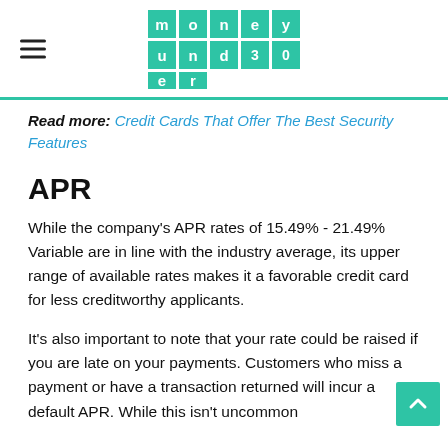money under 30
Read more: Credit Cards That Offer The Best Security Features
APR
While the company's APR rates of 15.49% - 21.49% Variable are in line with the industry average, its upper range of available rates makes it a favorable credit card for less creditworthy applicants.
It's also important to note that your rate could be raised if you are late on your payments. Customers who miss a payment or have a transaction returned will incur a default APR. While this isn't uncommon